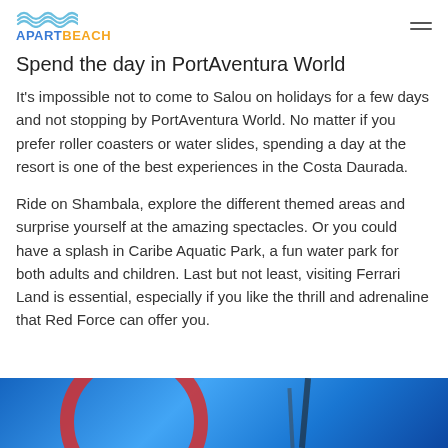APARTBEACH
Spend the day in PortAventura World
It's impossible not to come to Salou on holidays for a few days and not stopping by PortAventura World. No matter if you prefer roller coasters or water slides, spending a day at the resort is one of the best experiences in the Costa Daurada.
Ride on Shambala, explore the different themed areas and surprise yourself at the amazing spectacles. Or you could have a splash in Caribe Aquatic Park, a fun water park for both adults and children. Last but not least, visiting Ferrari Land is essential, especially if you like the thrill and adrenaline that Red Force can offer you.
[Figure (photo): Partial view of a roller coaster track with red curved arc against a bright blue sky background, with dark structural elements visible.]